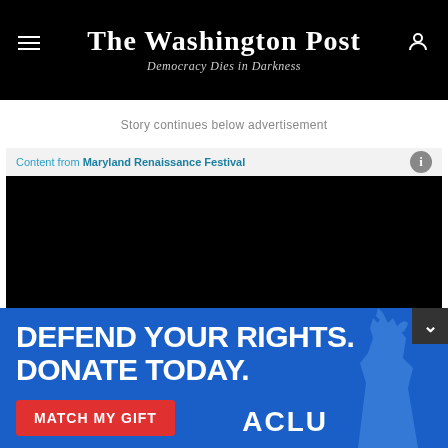The Washington Post — Democracy Dies in Darkness
Story continues below advertisement
Content from Maryland Renaissance Festival
[Figure (other): Black advertisement video/image area for Maryland Renaissance Festival]
[Figure (other): ACLU advertisement banner: DEFEND YOUR RIGHTS. DONATE TODAY. MATCH MY GIFT button with Statue of Liberty graphic and ACLU logo]